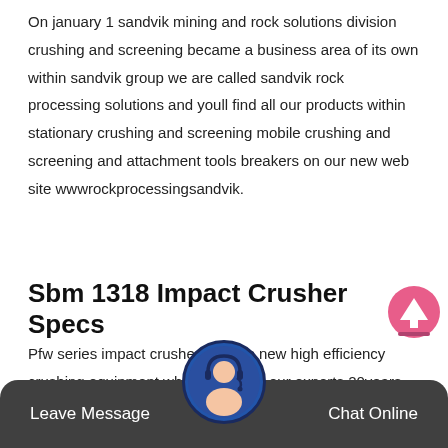On january 1 sandvik mining and rock solutions division crushing and screening became a business area of its own within sandvik group we are called sandvik rock processing solutions and youll find all our products within stationary crushing and screening mobile crushing and screening and attachment tools breakers on our new web site wwwrockprocessingsandvik.
Sbm 1318 Impact Crusher Specs
Pfw series impact crusher is sbms new high efficiency crushing equipment which gathered our experts 20years production experience and crusher has a long history from the initial performance which is not high